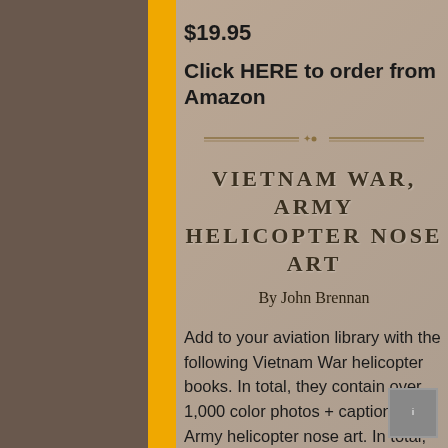$19.95
Click HERE to order from Amazon
[Figure (illustration): Decorative horizontal divider line with ornamental center element]
VIETNAM WAR, ARMY HELICOPTER NOSE ART
By John Brennan
Add to your aviation library with the following Vietnam War helicopter books. In total, they contain over 1,000 color photos + captions of Army helicopter nose art. In total, they contain over 5,000 documented helicopter names. In total, they
[Figure (photo): Background black and white photo of soldiers/people, partially obscured by yellow bar and content overlay]